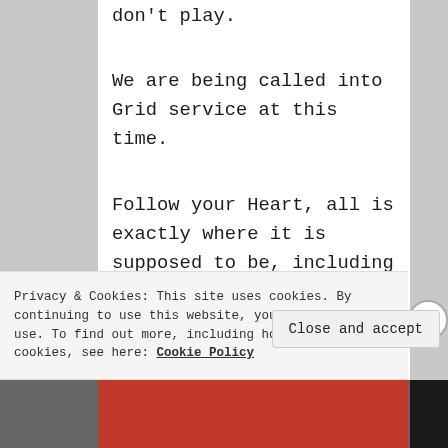don't play.
We are being called into Grid service at this time.
Follow your Heart, all is exactly where it is supposed to be, including us.
Everything is Divinely
Privacy & Cookies: This site uses cookies. By continuing to use this website, you agree to their use. To find out more, including how to control cookies, see here: Cookie Policy
Close and accept